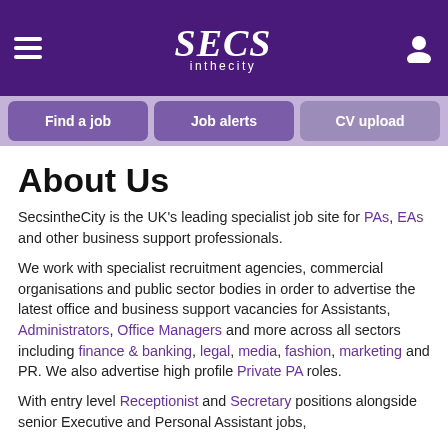SECS in the city
Find a job | Job alerts | CV upload
About Us
SecsintheCity is the UK’s leading specialist job site for PAs, EAs and other business support professionals.
We work with specialist recruitment agencies, commercial organisations and public sector bodies in order to advertise the latest office and business support vacancies for Assistants, Administrators, Office Managers and more across all sectors including finance & banking, legal, media, fashion, marketing and PR. We also advertise high profile Private PA roles.
With entry level Receptionist and Secretary positions alongside senior Executive and Personal Assistant jobs,